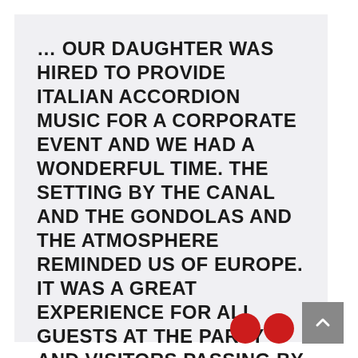… OUR DAUGHTER WAS HIRED TO PROVIDE ITALIAN ACCORDION MUSIC FOR A CORPORATE EVENT AND WE HAD A WONDERFUL TIME. THE SETTING BY THE CANAL AND THE GONDOLAS AND THE ATMOSPHERE REMINDED US OF EUROPE. IT WAS A GREAT EXPERIENCE FOR ALL GUESTS AT THE PARTY AND VISITORS PASSING BY FOR AN EVENING STROLL.